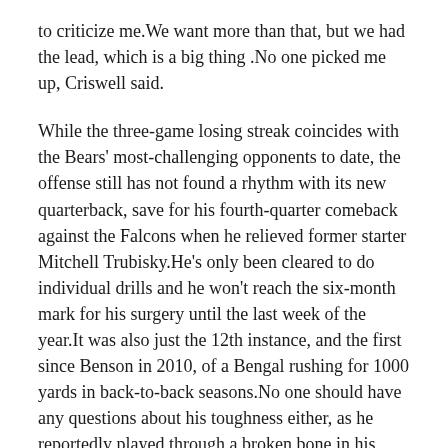to criticize me.We want more than that, but we had the lead, which is a big thing .No one picked me up, Criswell said.
While the three-game losing streak coincides with the Bears' most-challenging opponents to date, the offense still has not found a rhythm with its new quarterback, save for his fourth-quarter comeback against the Falcons when he relieved former starter Mitchell Trubisky.He's only been cleared to do individual drills and he won't reach the six-month mark for his surgery until the last week of the year.It was also just the 12th instance, and the first since Benson in 2010, of a Bengal rushing for 1000 yards in back-to-back seasons.No one should have any questions about his toughness either, as he reportedly played through a broken bone in his right hand on Thursday.